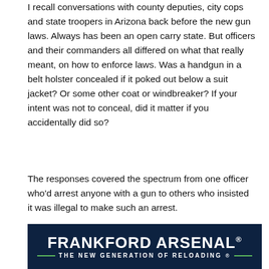I recall conversations with county deputies, city cops and state troopers in Arizona back before the new gun laws. Always has been an open carry state. But officers and their commanders all differed on what that really meant, on how to enforce laws. Was a handgun in a belt holster concealed if it poked out below a suit jacket? Or some other coat or windbreaker? If your intent was not to conceal, did it matter if you accidentally did so?
The responses covered the spectrum from one officer who'd arrest anyone with a gun to others who insisted it was illegal to make such an arrest.
Took a long time for Arizona to get it right. Long past due for TexAss to catch up with their propaganda.
[Figure (logo): Frankford Arsenal advertisement banner with dark navy background. Large white bold text reads 'FRANKFORD ARSENAL' with trademark symbol. Below in smaller caps text: 'THE NEW GENERATION OF RELOADING' with green accent lines.]